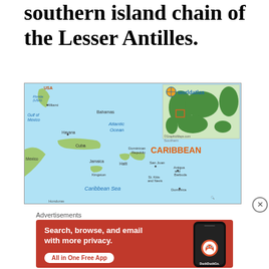southern island chain of the Lesser Antilles.
[Figure (map): Map of the Caribbean region showing the Gulf of Mexico, Atlantic Ocean, Caribbean Sea, and various islands and countries including Cuba, Haiti, Dominican Republic, Jamaica, Bahamas, Antigua and Barbuda, St. Kitts and Nevis, Dominica, San Juan, and coastal areas of USA (Florida), Mexico. Inset world map showing location. Labeled 'CARIBBEAN' in orange. Worldatlas branding.]
Advertisements
[Figure (other): DuckDuckGo advertisement banner: 'Search, browse, and email with more privacy. All in One Free App' with DuckDuckGo logo and phone image on orange/red background.]